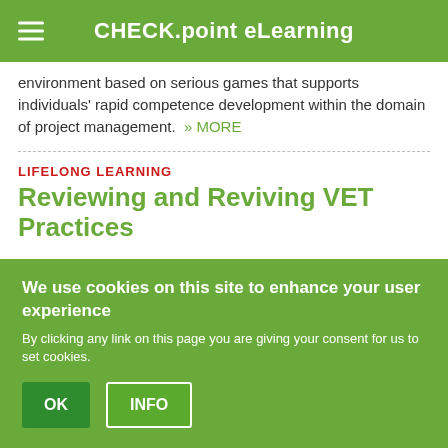CHECK.point eLearning
environment based on serious games that supports individuals' rapid competence development within the domain of project management. » MORE
LIFELONG LEARNING
Reviewing and Reviving VET Practices
Vilnius (LT), April 2012 - The Revive-VET project addresses the European priority of contributing to the development of lifelong...
We use cookies on this site to enhance your user experience
By clicking any link on this page you are giving your consent for us to set cookies.
OK  INFO